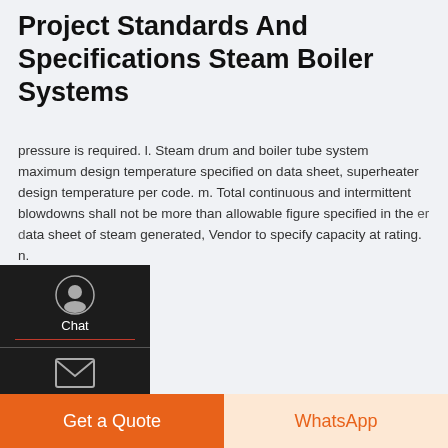Project Standards And Specifications Steam Boiler Systems
pressure is required. l. Steam drum and boiler tube system maximum design temperature specified on data sheet, superheater design temperature per code. m. Total continuous and intermittent blowdowns shall not be more than allowable figure specified in the per data sheet of steam generated, Vendor to specify capacity at rating. n.
[Figure (photo): Industrial steam boiler room with multiple red boilers, yellow gas pipes, and safety warning signs. Chinese text visible on signage.]